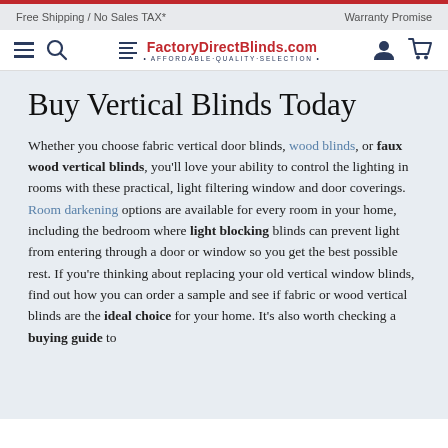Free Shipping / No Sales TAX*    Warranty Promise
[Figure (logo): FactoryDirectBlinds.com logo with hamburger menu, search icon, user icon, and cart icon. Tagline: AFFORDABLE·QUALITY·SELECTION]
Buy Vertical Blinds Today
Whether you choose fabric vertical door blinds, wood blinds, or faux wood vertical blinds, you'll love your ability to control the lighting in rooms with these practical, light filtering window and door coverings. Room darkening options are available for every room in your home, including the bedroom where light blocking blinds can prevent light from entering through a door or window so you get the best possible rest. If you're thinking about replacing your old vertical window blinds, find out how you can order a sample and see if fabric or wood vertical blinds are the ideal choice for your home. It's also worth checking a buying guide to